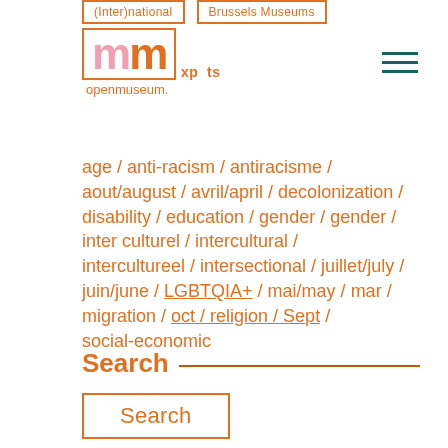(Inter)national / Brussels Museums
[Figure (logo): openmuseum logo with pink and orange M lettermark and orange border box, with 'xp rts' text overlay and 'openmuseum.' text below]
age / anti-racism / antiracisme / aout/august / avril/april / decolonization / disability / education / gender / gender / inter culturel / intercultural / intercultureel / intersectional / juillet/july / juin/june / LGBTQIA+ / mai/may / mar / migration / oct / religion / Sept / social-economic
Search
Search